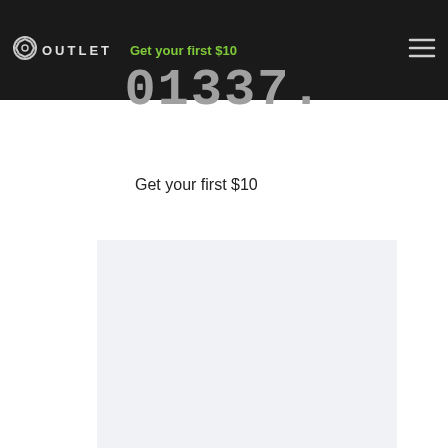OUTLET — Get your first $10
01337.
Get your first $10
[Figure (other): Light gray rectangular content/form area placeholder]